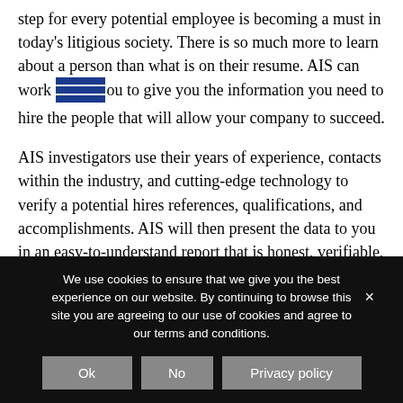step for every potential employee is becoming a must in today's litigious society. There is so much more to learn about a person than what is on their resume. AIS can work with you to give you the information you need to hire the people that will allow your company to succeed.
AIS investigators use their years of experience, contacts within the industry, and cutting-edge technology to verify a potential hires references, qualifications, and accomplishments. AIS will then present the data to you in an easy-to-understand report that is honest, verifiable, and accurate.
AIS' investigative professionals welcome the opportunity to
We use cookies to ensure that we give you the best experience on our website. By continuing to browse this site you are agreeing to our use of cookies and agree to our terms and conditions.